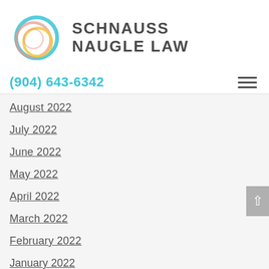[Figure (logo): Schnauss Naugle Law circular logo with overlapping colored rings in teal, pink/coral, and yellow]
SCHNAUSS NAUGLE LAW
(904) 643-6342
August 2022
July 2022
June 2022
May 2022
April 2022
March 2022
February 2022
January 2022